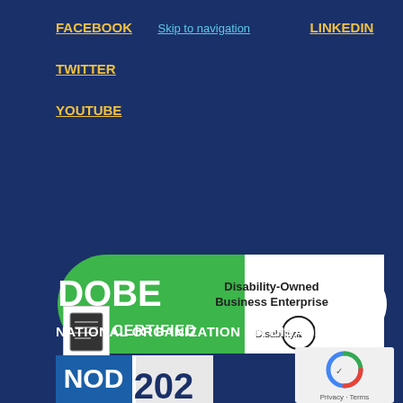FACEBOOK
Skip to navigation
LINKEDIN
TWITTER
YOUTUBE
[Figure (logo): DOBE Certified - Disability-Owned Business Enterprise, Disability:IN badge]
[Figure (illustration): Document icon]
NATIONAL ORGANIZATION ON DISABILITY
[Figure (logo): NOD 202 Leading badge]
[Figure (logo): reCAPTCHA Privacy - Terms box]